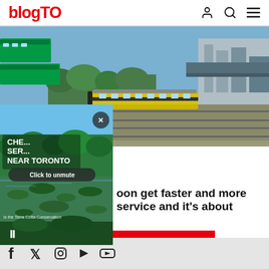blogTO
[Figure (photo): Aerial view of train yard with GO Transit trains and a Via Rail train on tracks, daytime, green trees visible]
[Figure (screenshot): Video overlay showing wetland/conservation area near Toronto with 'Click to unmute' button, close X, pause button, and text 'CHE... SER... NEAR TORONTO' and caption 'is the Terra Cotta Conservation']
oon get faster and more service and it's about
Load More
Social media icons: Facebook, Twitter, Instagram, YouTube, and another platform